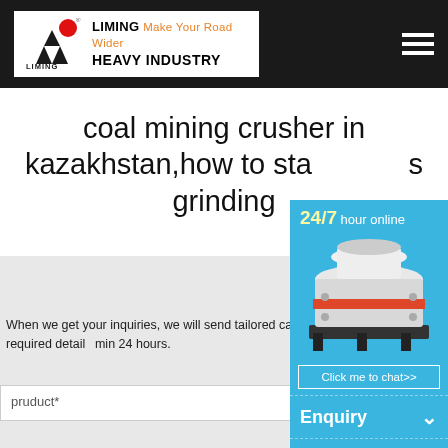[Figure (logo): Liming Heavy Industry logo with red circle emblem and company name, on white background within dark header bar]
coal mining crusher in kazakhstan,how to start a stone grinding
INQUIRY
When we get your inquiries, we will send tailored catalogue, pricelist, delivery, payment terms and other required details to you by email within 24 hours.
pruduct*
[Figure (screenshot): 24/7 hour online popup widget with cone crusher image, Click me to chat button, Enquiry section, and limingjlmofen text on blue background]